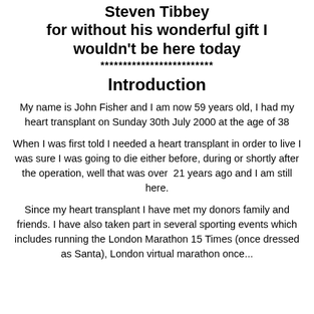Steven Tibbey for without his wonderful gift I wouldn't be here today
*************************
Introduction
My name is John Fisher and I am now 59 years old, I had my heart transplant on Sunday 30th July 2000 at the age of 38
When I was first told I needed a heart transplant in order to live I was sure I was going to die either before, during or shortly after the operation, well that was over 21 years ago and I am still here.
Since my heart transplant I have met my donors family and friends. I have also taken part in several sporting events which includes running the London Marathon 15 Times (once dressed as Santa), London virtual marathon once...